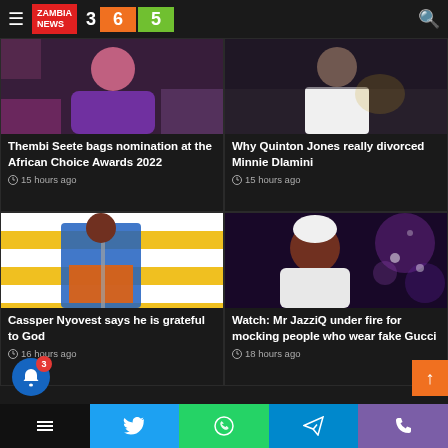≡ ZAMBIA NEWS 3 6 5 🔍
[Figure (photo): Top-left news card image: partial view of a woman in colorful African attire]
Thembi Seete bags nomination at the African Choice Awards 2022
⏱ 15 hours ago
[Figure (photo): Top-right news card image: woman in white wedding dress]
Why Quinton Jones really divorced Minnie Dlamini
⏱ 15 hours ago
[Figure (photo): Bottom-left news card image: person in blue jacket and orange shorts near a railing, yellow striped background]
Cassper Nyovest says he is grateful to God
⏱ 16 hours ago
[Figure (photo): Bottom-right news card image: man in white beanie and white hoodie with purple bokeh background]
Watch: Mr JazziQ under fire for mocking people who wear fake Gucci
⏱ 18 hours ago
Social share bar: Twitter, WhatsApp, Telegram, Phone